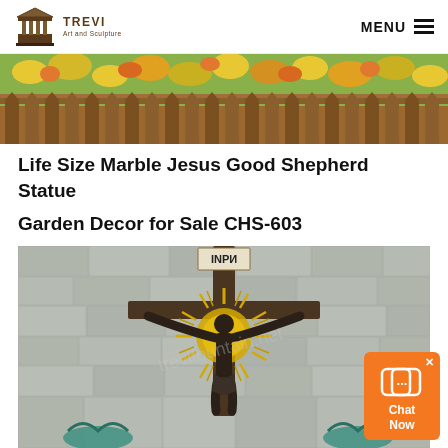TREVI Art and Sculpture | MENU
[Figure (photo): Garden scene with yellow and orange flowers behind a wooden picket fence]
Life Size Marble Jesus Good Shepherd Statue Garden Decor for Sale CHS-603
[Figure (photo): Bronze crucifix statue with Jesus on the cross mounted on a stone wall, with a golden sunburst halo and teal decorative elements at the base, with INRI inscription]
[Figure (other): Orange chat widget with speech bubble icon and Chat Now text]